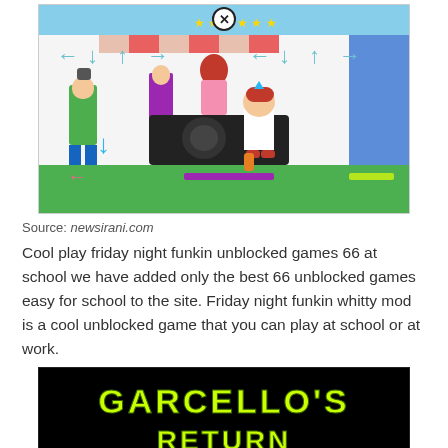[Figure (screenshot): Friday Night Funkin game screenshot showing cartoon characters with directional arrows HUD, a boy in red cap and girl with red hair on a speaker, and a tall man in green jacket, colorful fairground background]
Source: newsirani.com
Cool play friday night funkin unblocked games 66 at school we have added only the best 66 unblocked games easy for school to the site. Friday night funkin whitty mod is a cool unblocked game that you can play at school or at work.
[Figure (screenshot): Black background with yellow-green glowing neon text reading GARCELLO'S RETURN, with a close/X button circle at the bottom center]